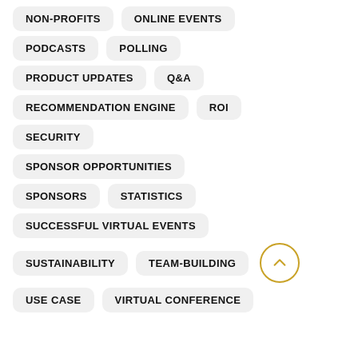NON-PROFITS
ONLINE EVENTS
PODCASTS
POLLING
PRODUCT UPDATES
Q&A
RECOMMENDATION ENGINE
ROI
SECURITY
SPONSOR OPPORTUNITIES
SPONSORS
STATISTICS
SUCCESSFUL VIRTUAL EVENTS
SUSTAINABILITY
TEAM-BUILDING
USE CASE
VIRTUAL CONFERENCE